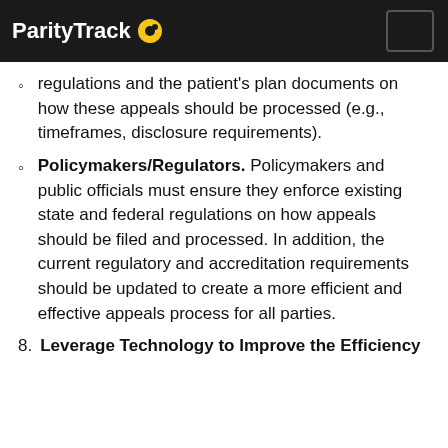ParityTrack
regulations and the patient's plan documents on how these appeals should be processed (e.g., timeframes, disclosure requirements).
Policymakers/Regulators. Policymakers and public officials must ensure they enforce existing state and federal regulations on how appeals should be filed and processed. In addition, the current regulatory and accreditation requirements should be updated to create a more efficient and effective appeals process for all parties.
8. Leverage Technology to Improve the Efficiency